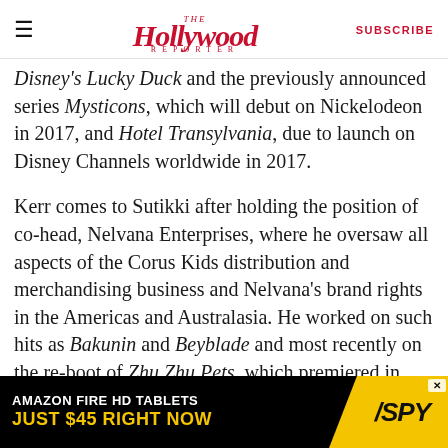The Hollywood Reporter — SUBSCRIBE
Disney's Lucky Duck and the previously announced series Mysticons, which will debut on Nickelodeon in 2017, and Hotel Transylvania, due to launch on Disney Channels worldwide in 2017.
Kerr comes to Sutikki after holding the position of co-head, Nelvana Enterprises, where he oversaw all aspects of the Corus Kids distribution and merchandising business and Nelvana's brand rights in the Americas and Australasia. He worked on such hits as Bakunin and Beyblade and most recently on the re-boot of Zhu Zhu Pets, which premiered in September.
[Figure (other): Amazon Fire HD Tablets advertisement — 'AMAZON FIRE HD TABLETS / JUST $45 RIGHT NOW' with SPY logo on yellow background]